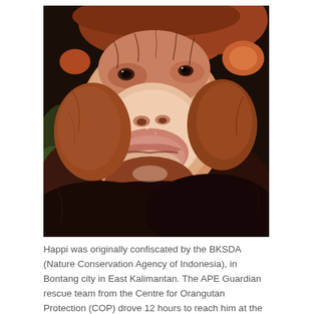[Figure (photo): Close-up photograph of a young orangutan's face and upper body. The orangutan has reddish-brown fur, a pale/pinkish face with prominent lips, and is looking upward toward the camera. The background is dark with hints of green foliage.]
Happi was originally confiscated by the BKSDA (Nature Conservation Agency of Indonesia), in Bontang city in East Kalimantan.  The APE Guardian rescue team from the Centre for Orangutan Protection (COP) drove 12 hours to reach him at the BKSDA office in Tenggarong, East